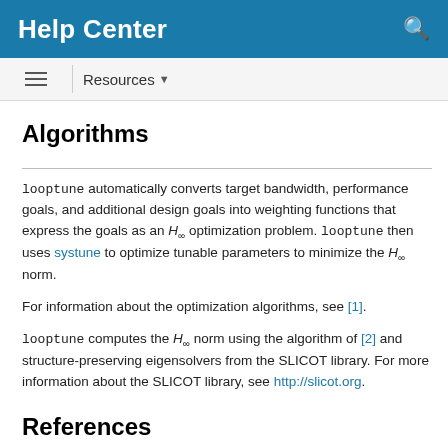Help Center
Algorithms
looptune automatically converts target bandwidth, performance goals, and additional design goals into weighting functions that express the goals as an H∞ optimization problem. looptune then uses systune to optimize tunable parameters to minimize the H∞ norm.
For information about the optimization algorithms, see [1].
looptune computes the H∞ norm using the algorithm of [2] and structure-preserving eigensolvers from the SLICOT library. For more information about the SLICOT library, see http://slicot.org.
References
[1] P. Apkarian and D. Noll, "Nonsmooth H-infinity Synthesis." IEEE Transactions on Automatic Control, Vol. 51, Number 1, 2006, pp. 71–86.
[2] Bruinsma, N.A., and M. Steinbuch. "A Fast Algorithm to